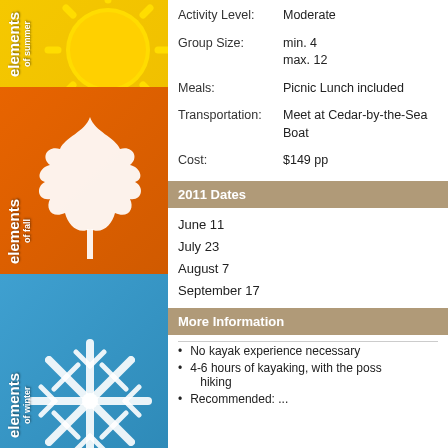[Figure (illustration): Elements of summer sidebar panel with sun graphic, yellow background, vertical text 'elements of summer']
[Figure (illustration): Elements of fall sidebar panel with maple leaf graphic, orange background, vertical text 'elements of fall']
[Figure (illustration): Elements of winter sidebar panel with snowflake graphic, blue background, vertical text 'elements of winter']
Activity Level: Moderate
Group Size: min. 4 max. 12
Meals: Picnic Lunch included
Transportation: Meet at Cedar-by-the-Sea Boat
Cost: $149 pp
2011 Dates
June 11
July 23
August 7
September 17
More Information
No kayak experience necessary
4-6 hours of kayaking, with the possibility of hiking
Recommended: ...